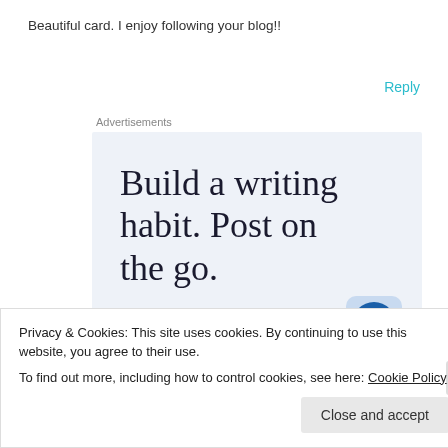Beautiful card. I enjoy following your blog!!
Reply
Advertisements
[Figure (other): WordPress advertisement: 'Build a writing habit. Post on the go.' with GET THE APP call-to-action and WordPress logo]
Privacy & Cookies: This site uses cookies. By continuing to use this website, you agree to their use.
To find out more, including how to control cookies, see here: Cookie Policy
Close and accept